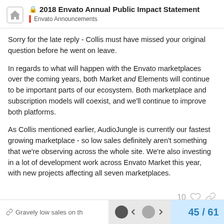2018 Envato Annual Public Impact Statement — Envato Announcements
Sorry for the late reply - Collis must have missed your original question before he went on leave.
In regards to what will happen with the Envato marketplaces over the coming years, both Market and Elements will continue to be important parts of our ecosystem. Both marketplace and subscription models will coexist, and we'll continue to improve both platforms.
As Collis mentioned earlier, AudioJungle is currently our fastest growing marketplace - so low sales definitely aren't something that we're observing across the whole site. We're also investing in a lot of development work across Envato Market this year, with new projects affecting all seven marketplaces.
Gravely low sales on th    45 / 61